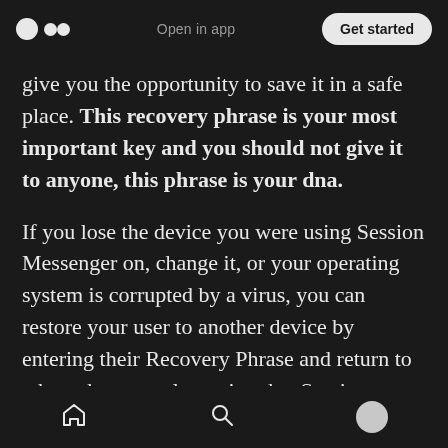Open in app | Get started
give you the opportunity to save it in a safe place. This recovery phrase is your most important key and you should not give it to anyone, this phrase is your dna.
If you lose the device you were using Session Messenger on, change it, or your operating system is corrupted by a virus, you can restore your user to another device by entering their Recovery Phrase and return to where they were last using that Session Messenger ID.
At first, Session will seem pretty dead and that's